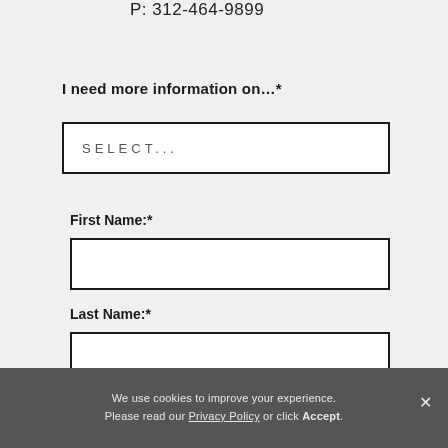P: 312-464-9899
I need more information on...*
SELECT...
First Name:*
Last Name:*
We use cookies to improve your experience. Please read our Privacy Policy or click Accept.